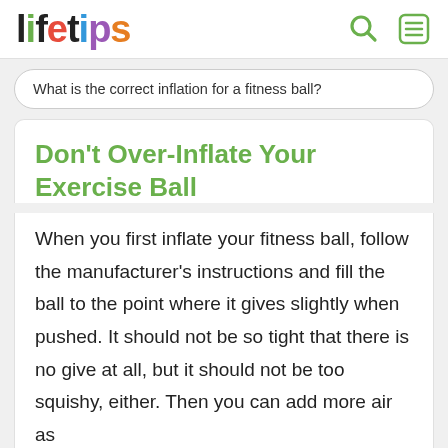lifetips
What is the correct inflation for a fitness ball?
Don't Over-Inflate Your Exercise Ball
When you first inflate your fitness ball, follow the manufacturer's instructions and fill the ball to the point where it gives slightly when pushed. It should not be so tight that there is no give at all, but it should not be too squishy, either. Then you can add more air as